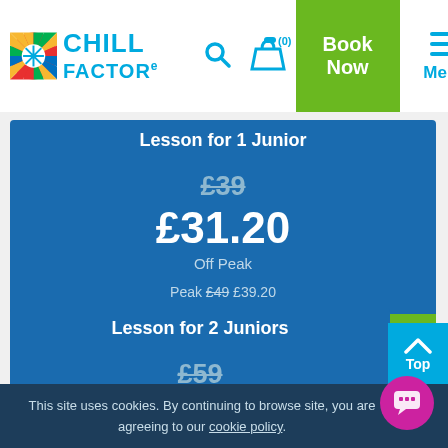Chill Factor – Book Now | Menu
Lesson for 1 Junior
£39 (strikethrough) £31.20 Off Peak | Peak £49 £39.20
Book Now
Lesson for 2 Juniors
£59 (strikethrough)
Top
This site uses cookies. By continuing to browse site, you are agreeing to our cookie policy.